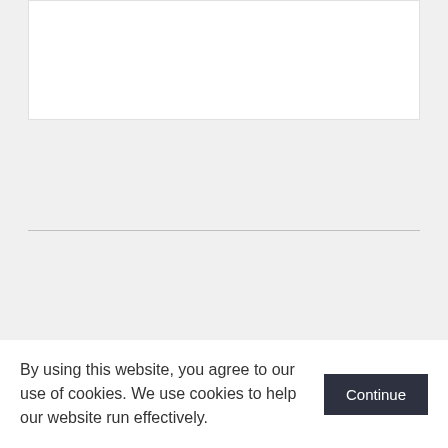[Figure (other): White card/content area at top of page]
Read more of our news
By using this website, you agree to our use of cookies. We use cookies to help our website run effectively.
Continue